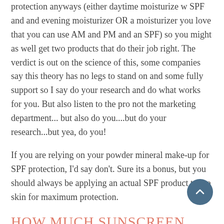protection anyways (either daytime moisturize w SPF and and evening moisturizer OR a moisturizer you love that you can use AM and PM and an SPF) so you might as well get two products that do their job right. The verdict is out on the science of this, some companies say this theory has no legs to stand on and some fully support so I say do your research and do what works for you. But also listen to the pro not the marketing department... but also do you....but do your research...but yea, do you!
If you are relying on your powder mineral make-up for SPF protection, I'd say don't. Sure its a bonus, but you should always be applying an actual SPF product to the skin for maximum protection.
How much Sunscreen should I be applying?